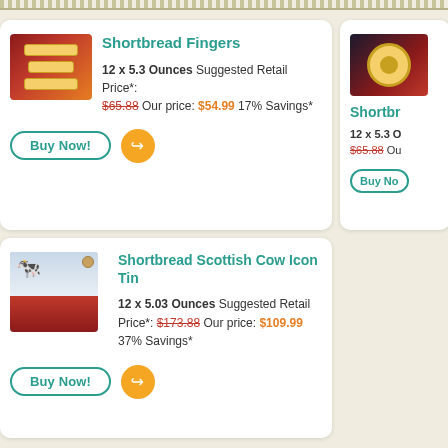[Figure (other): Product listing card for Shortbread Fingers with product image, price info and Buy Now button]
Shortbread Fingers
12 x 5.3 Ounces Suggested Retail Price*: $65.88 Our price: $54.99 17% Savings*
[Figure (other): Partially visible product listing card for a second shortbread product]
Shortbr...
12 x 5.3 O... $65.88 Ou...
[Figure (other): Product listing card for Shortbread Scottish Cow Icon Tin with product image, price info and Buy Now button]
Shortbread Scottish Cow Icon Tin
12 x 5.03 Ounces Suggested Retail Price*: $173.88 Our price: $109.99 37% Savings*